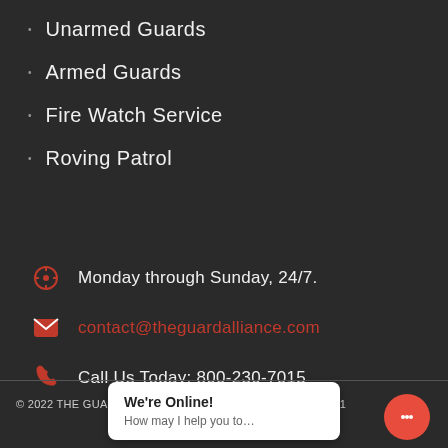Unarmed Guards
Armed Guards
Fire Watch Service
Roving Patrol
Monday through Sunday, 24/7.
contact@theguardalliance.com
Call Us Today: 800-230-7015
© 2022 THE GUARD ALLIANCE INC. All rights reserved. PPO 1
We're Online! How may I help you to…